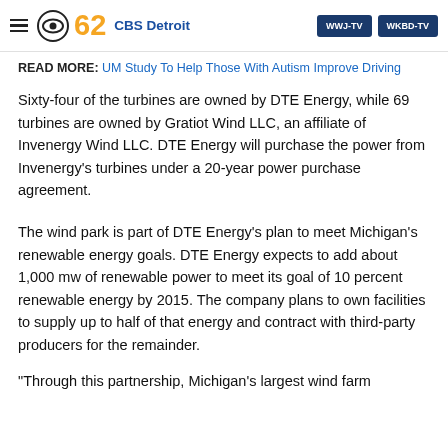CBS 62 CBS Detroit | WWJ-TV | WKBD-TV
READ MORE: UM Study To Help Those With Autism Improve Driving
Sixty-four of the turbines are owned by DTE Energy, while 69 turbines are owned by Gratiot Wind LLC, an affiliate of Invenergy Wind LLC. DTE Energy will purchase the power from Invenergy's turbines under a 20-year power purchase agreement.
The wind park is part of DTE Energy's plan to meet Michigan's renewable energy goals. DTE Energy expects to add about 1,000 mw of renewable power to meet its goal of 10 percent renewable energy by 2015. The company plans to own facilities to supply up to half of that energy and contract with third-party producers for the remainder.
“Through this partnership, Michigan’s largest wind farm